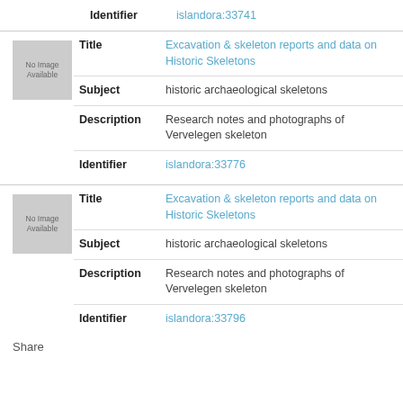Identifier   islandora:33741
[Figure (other): No Image Available placeholder thumbnail (gray box)]
Title   Excavation & skeleton reports and data on Historic Skeletons
Subject   historic archaeological skeletons
Description   Research notes and photographs of Vervelegen skeleton
Identifier   islandora:33776
[Figure (other): No Image Available placeholder thumbnail (gray box)]
Title   Excavation & skeleton reports and data on Historic Skeletons
Subject   historic archaeological skeletons
Description   Research notes and photographs of Vervelegen skeleton
Identifier   islandora:33796
Share